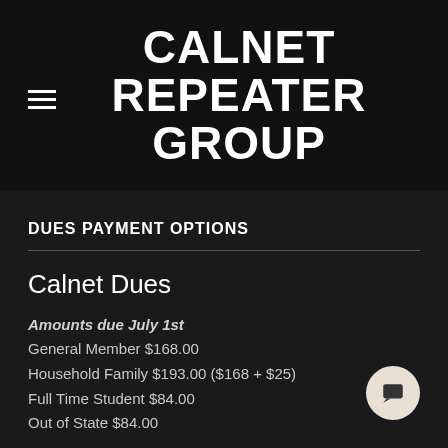CALNET REPEATER GROUP
DUES PAYMENT OPTIONS
Calnet Dues
Amounts due July 1st
General Member $168.00
Household Family $193.00 ($168 + $25)
Full Time Student $84.00
Out of State $84.00